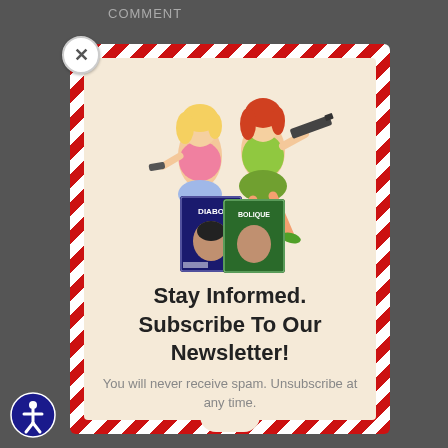COMMENT
[Figure (illustration): Two illustrated women in retro pin-up style holding weapons, standing in front of comic/magazine covers labeled 'Diabolik' and 'Bolique']
Stay Informed. Subscribe To Our Newsletter!
You will never receive spam. Unsubscribe at any time.